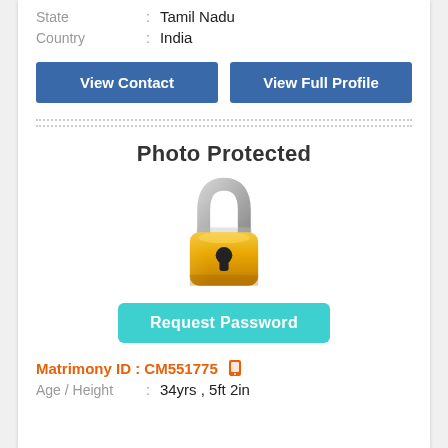State : Tamil Nadu
Country : India
View Contact
View Full Profile
[Figure (illustration): Photo Protected label with a padlock icon (grey shackle, golden body with keyhole) and a cyan 'Request Password' button below]
Matrimony ID : CM551775
Age / Height : 34yrs , 5ft 2in